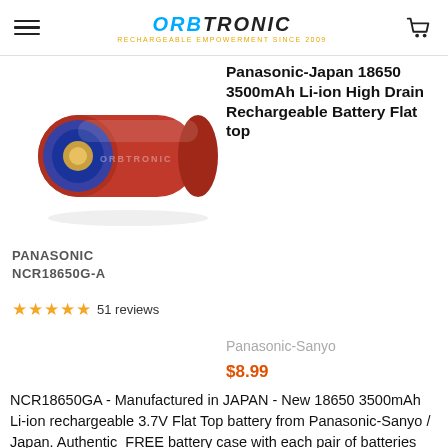ORBTRONIC — RECHARGEABLE EMPOWERMENT SINCE 2009
[Figure (photo): Red Panasonic NCR18650G-A cylindrical lithium-ion battery lying on its side, with blue ring on the positive terminal end, on a white background. Watermark text ORBTRONIC visible.]
Panasonic-Japan 18650 3500mAh Li-ion High Drain Rechargeable Battery Flat top
PANASONIC NCR18650G-A
51 reviews
Panasonic-Sanyo
$8.99
NCR18650GA - Manufactured in JAPAN - New 18650 3500mAh Li-ion rechargeable 3.7V Flat Top battery from Panasonic-Sanyo / Japan. Authentic  FREE battery case with each pair of batteries purchased